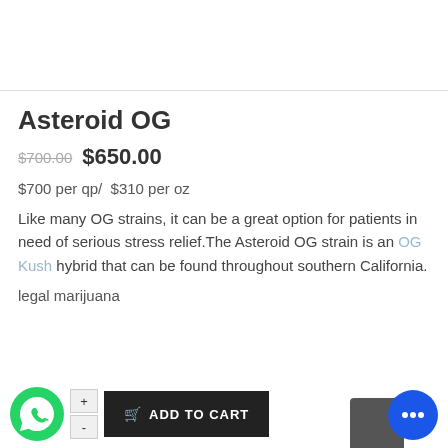Asteroid OG
$700.00  $650.00
$700 per qp/  $310 per oz
Like many OG strains, it can be a great option for patients in need of serious stress relief.The Asteroid OG strain is an OG Kush hybrid that can be found throughout southern California.
legal marijuana